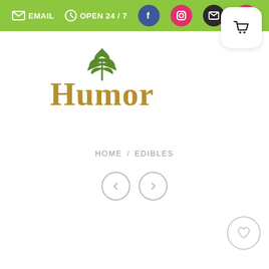EMAIL  OPEN 24 / 7
[Figure (logo): Humor cannabis shop logo with green cannabis leaf above stylized brown 'Humor' text]
HOME / EDIBLES
[Figure (other): Left and right navigation arrow circles]
[Figure (other): Wishlist heart icon circle button]